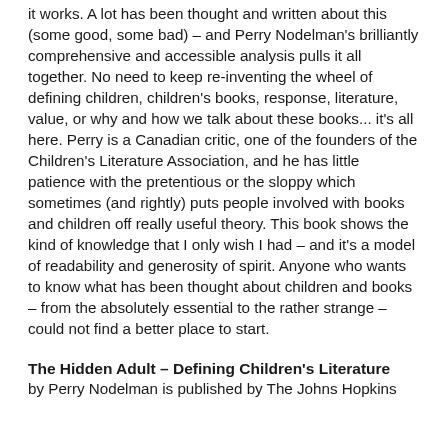it works. A lot has been thought and written about this (some good, some bad) – and Perry Nodelman's brilliantly comprehensive and accessible analysis pulls it all together. No need to keep re-inventing the wheel of defining children, children's books, response, literature, value, or why and how we talk about these books... it's all here. Perry is a Canadian critic, one of the founders of the Children's Literature Association, and he has little patience with the pretentious or the sloppy which sometimes (and rightly) puts people involved with books and children off really useful theory. This book shows the kind of knowledge that I only wish I had – and it's a model of readability and generosity of spirit. Anyone who wants to know what has been thought about children and books – from the absolutely essential to the rather strange – could not find a better place to start.
The Hidden Adult – Defining Children's Literature
by Perry Nodelman is published by The Johns Hopkins